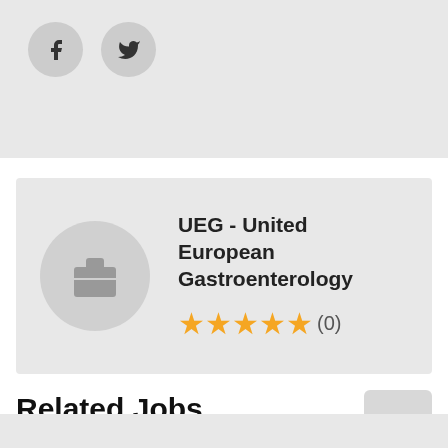[Figure (other): Social share buttons: Facebook (f) and Twitter (bird icon) as circular grey buttons]
[Figure (other): Company card showing UEG - United European Gastroenterology with briefcase logo, 4.5 star rating and (0) reviews]
UEG - United European Gastroenterology
★★★★½(0)
Related Jobs